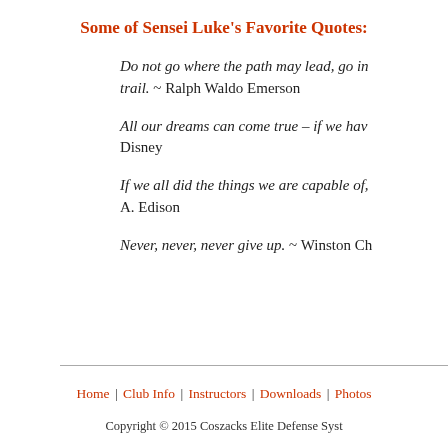Some of Sensei Luke's Favorite Quotes:
Do not go where the path may lead, go in... trail. ~ Ralph Waldo Emerson
All our dreams can come true – if we hav... Disney
If we all did the things we are capable of,... A. Edison
Never, never, never give up. ~ Winston Ch...
Home | Club Info | Instructors | Downloads | Photos    Copyright © 2015 Coszacks Elite Defense Syst...